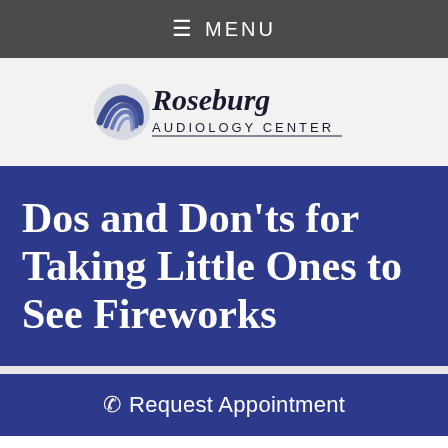MENU
[Figure (logo): Roseburg Audiology Center logo with stylized hearing device graphic]
Dos and Don'ts for Taking Little Ones to See Fireworks
Request Appointment